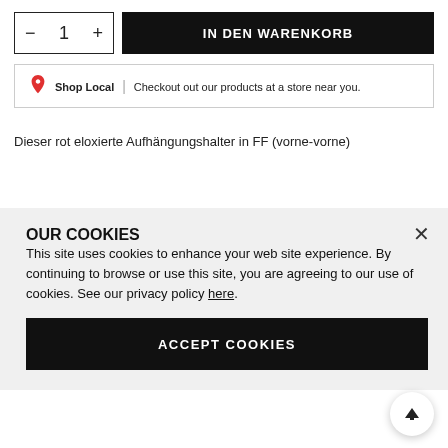— 1 + | IN DEN WARENKORB
Shop Local | Checkout out our products at a store near you.
Dieser rot eloxierte Aufhängungshalter in FF (vorne-vorne)
OUR COOKIES
This site uses cookies to enhance your web site experience. By continuing to browse or use this site, you are agreeing to our use of cookies. See our privacy policy here.
ACCEPT COOKIES